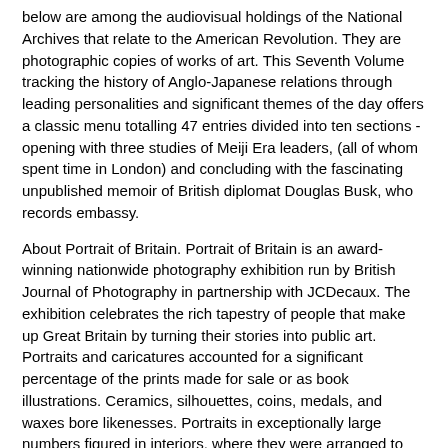below are among the audiovisual holdings of the National Archives that relate to the American Revolution. They are photographic copies of works of art. This Seventh Volume tracking the history of Anglo-Japanese relations through leading personalities and significant themes of the day offers a classic menu totalling 47 entries divided into ten sections - opening with three studies of Meiji Era leaders, (all of whom spent time in London) and concluding with the fascinating unpublished memoir of British diplomat Douglas Busk, who records embassy.
About Portrait of Britain. Portrait of Britain is an award-winning nationwide photography exhibition run by British Journal of Photography in partnership with JCDecaux. The exhibition celebrates the rich tapestry of people that make up Great Britain by turning their stories into public art. Portraits and caricatures accounted for a significant percentage of the prints made for sale or as book illustrations. Ceramics, silhouettes, coins, medals, and waxes bore likenesses. Portraits in exceptionally large numbers figured in interiors, where they were arranged to convey domestic as well as political and dynastic messages.
Portrait of Britain is an annual British portrait photography competition run by the British Journal of Photography. Its subject is the diversity of British people. The winning portraits are displayed on JCDecaux's digital screens across Britain throughout the month of September. It launched in In an eponymously titled book was published with of the shortlisted portraits. Both British and American records indicate that women between twenty and thirty gave birth to nearly double the number of pre-war illegitimate children. Since it appears that the more mature women were the ones most encouraged by the relaxed morals of wartime to 'enjoy' themselves, it may be surmized that